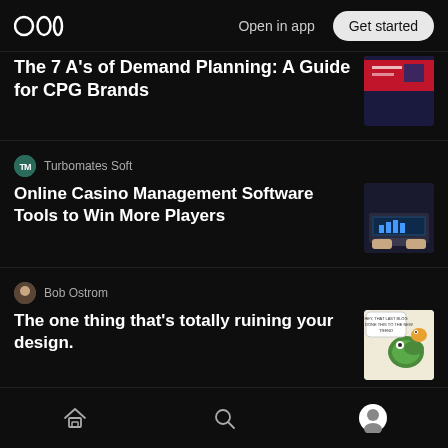Medium app header — Open in app | Get started
The 7 A's of Demand Planning: A Guide for CPG Brands
Turbomates Soft
Online Casino Management Software Tools to Win More Players
Bob Ostrom
The one thing that's totally ruining your design.
Meiling Wu in Next Thoughts
6 tips help your business to be heard in today's digital busy world. # 2 from 6